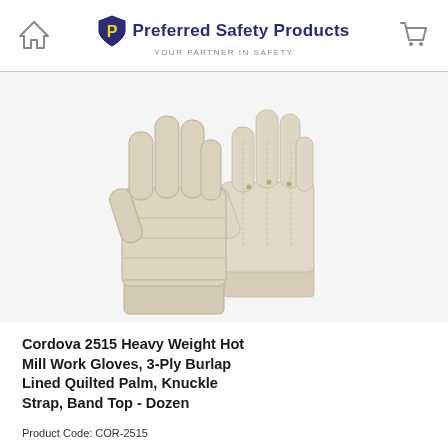Preferred Safety Products — YOUR PARTNER IN SAFETY
[Figure (photo): Two cream/beige cotton hot mill work gloves laid overlapping on a white background, showing quilted palm construction and band top cuff.]
Cordova 2515 Heavy Weight Hot Mill Work Gloves, 3-Ply Burlap Lined Quilted Palm, Knuckle Strap, Band Top - Dozen
Product Code: COR-2515